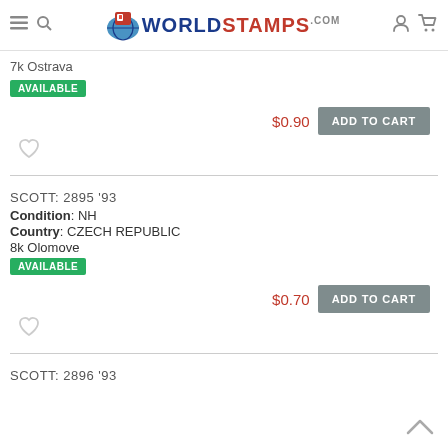WorldStamps.com
7k Ostrava
AVAILABLE
$0.90
ADD TO CART
SCOTT: 2895 '93
Condition: NH
Country: CZECH REPUBLIC
8k Olomove
AVAILABLE
$0.70
ADD TO CART
SCOTT: 2896 '93